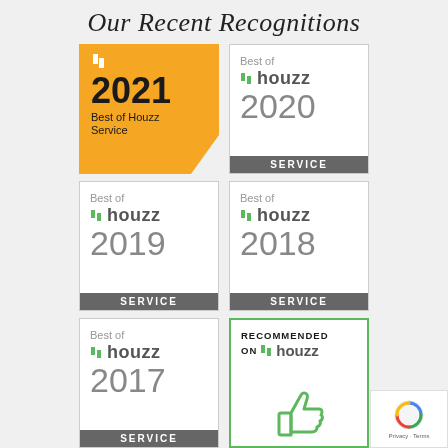Our Recent Recognitions
[Figure (logo): Best of Houzz 2021 Service badge - gold/yellow with clipped corner]
[Figure (logo): Best of Houzz 2020 Service badge - white bordered box with grey SERVICE bar]
[Figure (logo): Best of Houzz 2019 Service badge - white bordered box with grey SERVICE bar]
[Figure (logo): Best of Houzz 2018 Service badge - white bordered box with grey SERVICE bar]
[Figure (logo): Best of Houzz 2017 Service badge - white bordered box with grey SERVICE bar]
[Figure (logo): Recommended on Houzz badge - white box with green border and thumbs up icon]
[Figure (logo): HomeStars logo - blue rounded rectangle with white bold text]